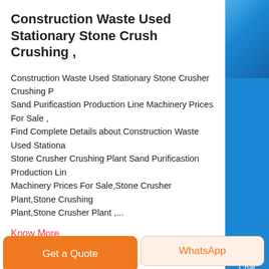Construction Waste Used Stationary Stone Crushing ,
Construction Waste Used Stationary Stone Crusher Crushing Plant Sand Purificastion Production Line Machinery Prices For Sale , Find Complete Details about Construction Waste Used Stationary Stone Crusher Crushing Plant Sand Purificastion Production Line Machinery Prices For Sale,Stone Crusher Plant,Stone Crushing Plant,Stone Crusher Plant ,...
Know More
[Figure (photo): Industrial stone crusher / grinding mill machinery equipment outdoors]
Get a Quote
WhatsApp